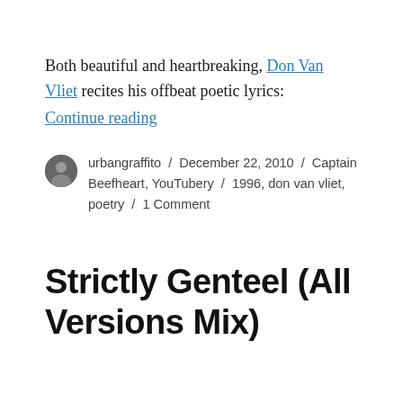Both beautiful and heartbreaking, Don Van Vliet recites his offbeat poetic lyrics: Continue reading
urbangraffito / December 22, 2010 / Captain Beefheart, YouTubery / 1996, don van vliet, poetry / 1 Comment
Strictly Genteel (All Versions Mix)